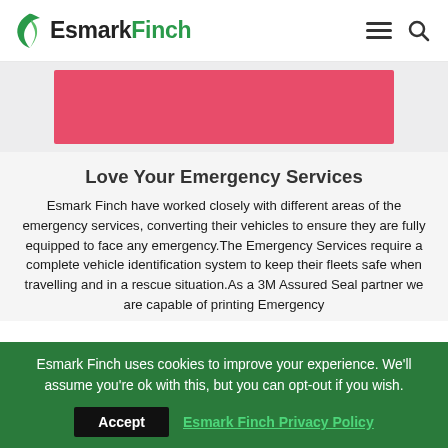EsmarkFinch
[Figure (other): Red/pink rectangular banner image]
Love Your Emergency Services
Esmark Finch have worked closely with different areas of the emergency services, converting their vehicles to ensure they are fully equipped to face any emergency.The Emergency Services require a complete vehicle identification system to keep their fleets safe when travelling and in a rescue situation.As a 3M Assured Seal partner we are capable of printing Emergency
Esmark Finch uses cookies to improve your experience. We'll assume you're ok with this, but you can opt-out if you wish.
Accept   Esmark Finch Privacy Policy